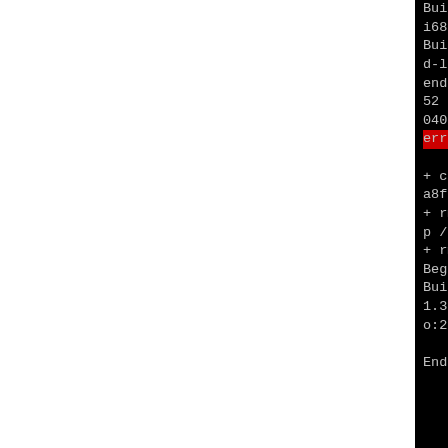Building target platforms: i686-pld-linux
Building for target i686-pld-linux
ended at: Sat Jun 11 23:34:52 2022, done in 0:00:00.10401
error: No files produced.
+ chmod -R u+rwX /tmp/B.lc7a8fij/BUILD
+ rm -rf /tmp/B.lc7a8fij/tmp/B.lc7a8fij/BUILD
+ rm -rf /tmp/B.lc7a8fij
Begin-PLD-Builder-Info
Build-Time: user:7.03s sys:1.31s real:11.55s (faults io:2 non-io:276376)

End-PLD-Builder-Info
[Back to list of logs]
[View rpm -q build...]